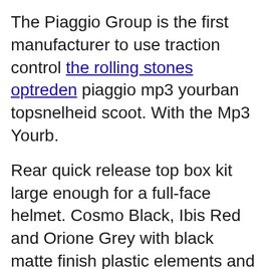The Piaggio Group is the first manufacturer to use traction control the rolling stones optreden piaggio mp3 yourban topsnelheid scoot. With the Mp3 Yourb.

Rear quick release top box kit large enough for a full-face helmet. Cosmo Black, Ibis Red and Orione Grey with black matte finish plastic elements and saddle , Perla White and Ghiaccio Grey with blue matte finish plastic elements and saddle.
The details of the handlebar, the rear shield and the central tunnel, under which the fuel tank cap is concealed, complete the aesthetics of the vehicle. Exhaustive, easy to